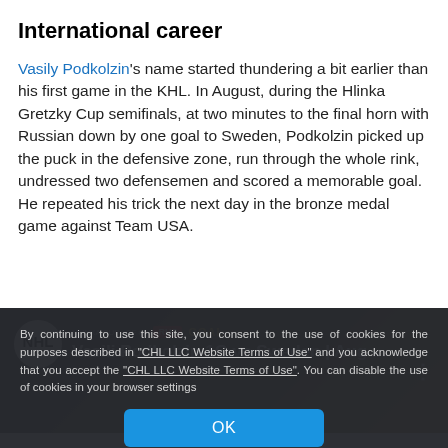International career
Vasily Podkolzin's name started thundering a bit earlier than his first game in the KHL. In August, during the Hlinka Gretzky Cup semifinals, at two minutes to the final horn with Russian down by one goal to Sweden, Podkolzin picked up the puck in the defensive zone, run through the whole rink, undressed two defensemen and scored a memorable goal. He repeated his trick the next day in the bronze medal game against Team USA.
[Figure (screenshot): YouTube video thumbnail showing NHL Prospects logo and title 'Vasili Podkolzin 1G vs Sweden | Aug ...' with hockey game footage in the background]
By continuing to use this site, you consent to the use of cookies for the purposes described in "CHL LLC Website Terms of Use" and you acknowledge that you accept the "CHL LLC Website Terms of Use". You can disable the use of cookies in your browser settings